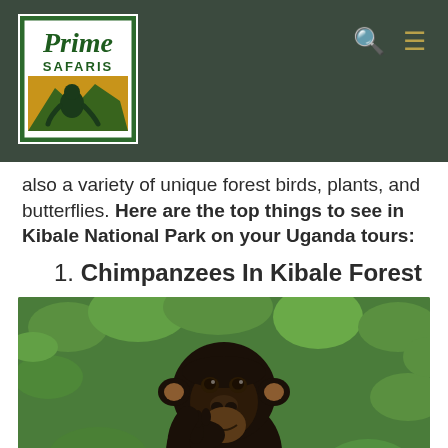[Figure (logo): Prime Safaris logo: green bordered box with white background, text 'Prime' in green serif font above 'SAFARIS' in green bold caps, yellow/orange rectangle with gorilla silhouette and mountain scenery]
also a variety of unique forest birds, plants, and butterflies. Here are the top things to see in Kibale National Park on your Uganda tours:
1. Chimpanzees In Kibale Forest
[Figure (photo): Close-up photo of a young chimpanzee with dark fur, holding its hand near its mouth, surrounded by green leafy vegetation in the background]